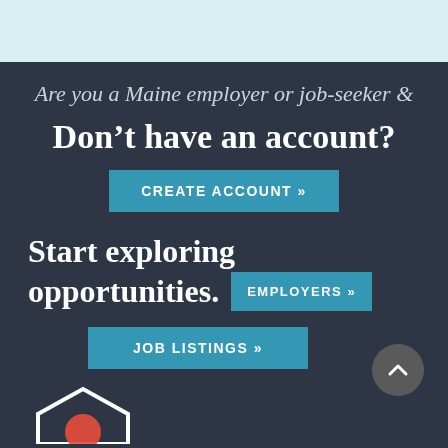Are you a Maine employer or job-seeker &
Don't have an account?
CREATE ACCOUNT »
Start exploring opportunities.
EMPLOYERS »
JOB LISTINGS »